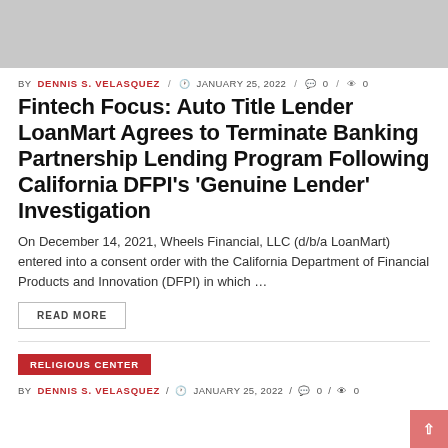[Figure (photo): Gray placeholder image at top of page]
BY DENNIS S. VELASQUEZ / JANUARY 25, 2022 / 0 / 0
Fintech Focus: Auto Title Lender LoanMart Agrees to Terminate Banking Partnership Lending Program Following California DFPI’s ‘Genuine Lender’ Investigation
On December 14, 2021, Wheels Financial, LLC (d/b/a LoanMart) entered into a consent order with the California Department of Financial Products and Innovation (DFPI) in which …
READ MORE
RELIGIOUS CENTER
BY DENNIS S. VELASQUEZ / JANUARY 25, 2022 / 0 / 0